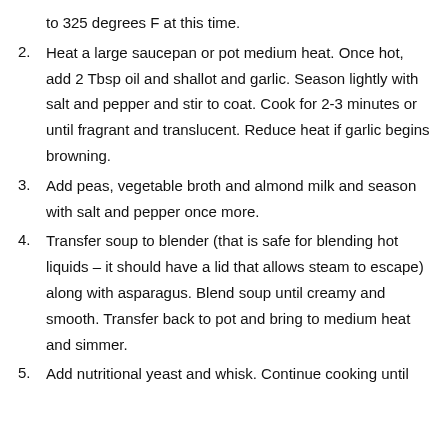to 325 degrees F at this time.
2. Heat a large saucepan or pot medium heat. Once hot, add 2 Tbsp oil and shallot and garlic. Season lightly with salt and pepper and stir to coat. Cook for 2-3 minutes or until fragrant and translucent. Reduce heat if garlic begins browning.
3. Add peas, vegetable broth and almond milk and season with salt and pepper once more.
4. Transfer soup to blender (that is safe for blending hot liquids – it should have a lid that allows steam to escape) along with asparagus. Blend soup until creamy and smooth. Transfer back to pot and bring to medium heat and simmer.
5. Add nutritional yeast and whisk. Continue cooking until